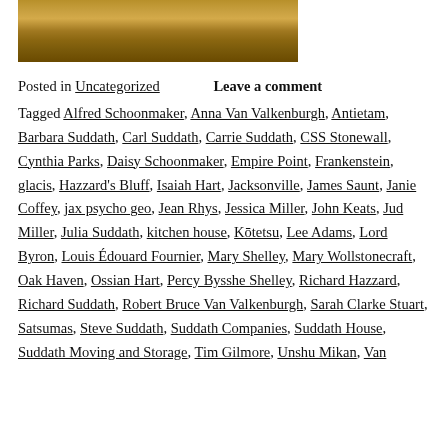[Figure (photo): Horizontal strip photograph showing layered earth or rock strata in brown and golden tones.]
Posted in Uncategorized   Leave a comment
Tagged Alfred Schoonmaker, Anna Van Valkenburgh, Antietam, Barbara Suddath, Carl Suddath, Carrie Suddath, CSS Stonewall, Cynthia Parks, Daisy Schoonmaker, Empire Point, Frankenstein, glacis, Hazzard's Bluff, Isaiah Hart, Jacksonville, James Saunt, Janie Coffey, jax psycho geo, Jean Rhys, Jessica Miller, John Keats, Jud Miller, Julia Suddath, kitchen house, Kōtetsu, Lee Adams, Lord Byron, Louis Édouard Fournier, Mary Shelley, Mary Wollstonecraft, Oak Haven, Ossian Hart, Percy Bysshe Shelley, Richard Hazzard, Richard Suddath, Robert Bruce Van Valkenburgh, Sarah Clarke Stuart, Satsumas, Steve Suddath, Suddath Companies, Suddath House, Suddath Moving and Storage, Tim Gilmore, Unshu Mikan, Van Valkenburgh House, ...